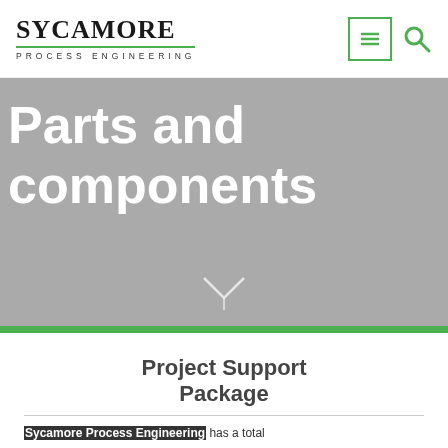SYCAMORE PROCESS ENGINEERING
Parts and components
Project Support Package
Sycamore Process Engineering has a total